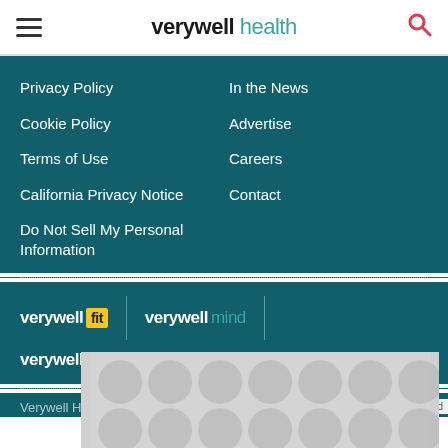verywell health
Privacy Policy
In the News
Cookie Policy
Advertise
Terms of Use
Careers
California Privacy Notice
Contact
Do Not Sell My Personal Information
[Figure (logo): Verywell Fit logo with yellow badge, Verywell Mind logo with teal text, Verywell Family logo with purple text]
Verywell Health's content is for informational and